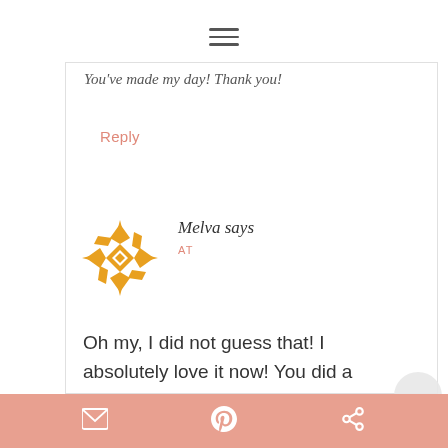[Figure (other): Hamburger menu icon (three horizontal lines)]
You've made my day! Thank you!
Reply
[Figure (illustration): Circular avatar with orange geometric mandala/snowflake pattern on white background]
Melva says
AT
Oh my, I did not guess that! I absolutely love it now! You did a
awesome job!
[Figure (other): Share bar with email, Pinterest, and share icons on salmon/coral background]